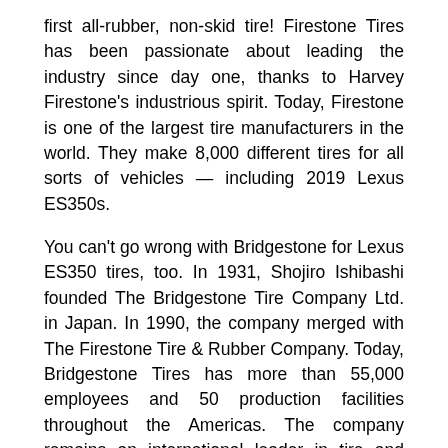first all-rubber, non-skid tire! Firestone Tires has been passionate about leading the industry since day one, thanks to Harvey Firestone's industrious spirit. Today, Firestone is one of the largest tire manufacturers in the world. They make 8,000 different tires for all sorts of vehicles — including 2019 Lexus ES350s.
You can't go wrong with Bridgestone for Lexus ES350 tires, too. In 1931, Shojiro Ishibashi founded The Bridgestone Tire Company Ltd. in Japan. In 1990, the company merged with The Firestone Tire & Rubber Company. Today, Bridgestone Tires has more than 55,000 employees and 50 production facilities throughout the Americas. The company remains an international leader in tire and rubber technology, delivering outstanding tires, service, and more to drivers worldwide. As Shojiro Ishibashi said, Bridgestone is dedicated worldwide to "serve society with superior quality." What are you waiting for? If you want to drive with peace of mind, buy Bridgestone tires for a 2019 Lexus ES350 today!